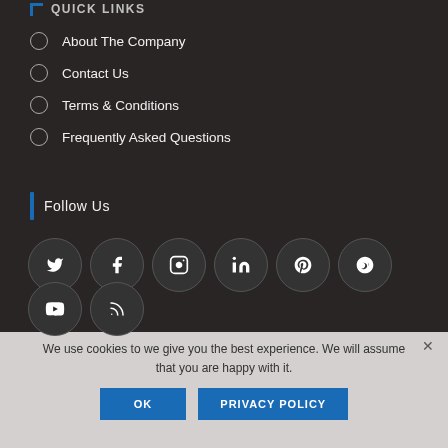About The Company
Contact Us
Terms & Conditions
Frequently Asked Questions
Follow Us
[Figure (other): Social media icon buttons in circles: Twitter, Facebook, Instagram, LinkedIn, Pinterest, Vine, YouTube, RSS]
We use cookies to we give you the best experience. We will assume that you are happy with it.
OK   PRIVACY POLICY